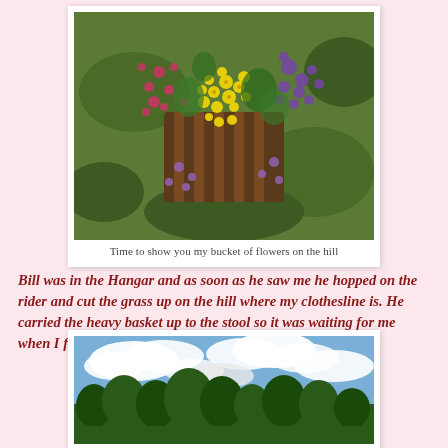[Figure (photo): Aerial view of a bucket or tray of colorful flowers including yellow, pink/magenta, and purple blooms on a grassy hill]
Time to show you my bucket of flowers on the hill
Bill was in the Hangar and as soon as he saw me he hopped on the rider and cut the grass up on the hill where my clothesline is. He carried the heavy basket up to the stool so it was waiting for me when I finished my tea.
[Figure (photo): Landscape photo showing trees against a blue sky with white clouds]